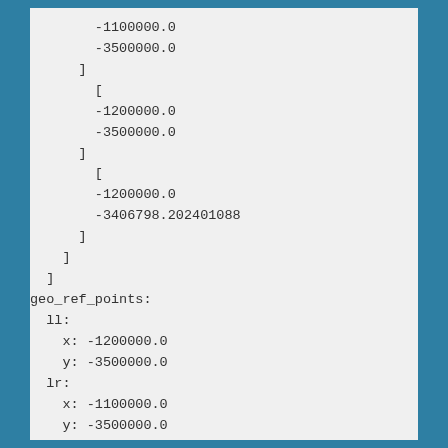-1100000.0
-3500000.0
]
[
-1200000.0
-3500000.0
]
[
-1200000.0
-3406798.202401088
]
]
]
geo_ref_points:
  ll:
    x: -1200000.0
    y: -3500000.0
  lr:
    x: -1100000.0
    y: -3500000.0